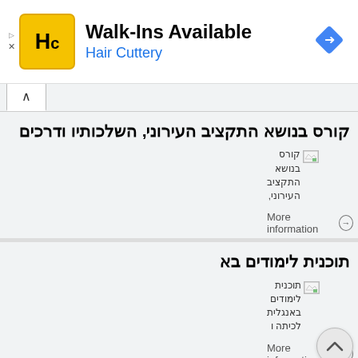[Figure (screenshot): Hair Cuttery advertisement banner with yellow logo showing 'HC', title 'Walk-Ins Available', subtitle 'Hair Cuttery', and a blue navigation diamond icon on the right]
קורס בנושא התקציב העירוני, השלכותיו ודרכים
[Figure (screenshot): Broken image placeholder with Hebrew text: קורס בנושא התקציב העירוני, followed by 'More information' link with circle arrow]
תוכנית לימודים בא
[Figure (screenshot): Broken image placeholder with Hebrew text: תוכנית לימודים באנגלית לכיתה ו, followed by 'More information' link with circle arrow]